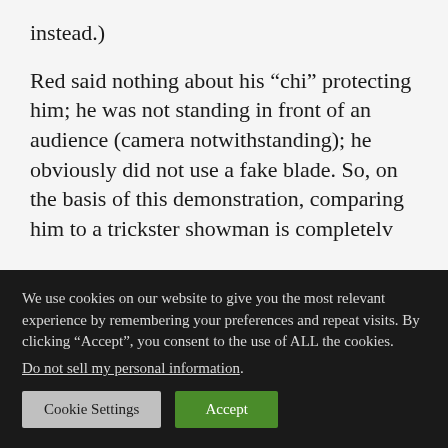instead.)
Red said nothing about his “chi” protecting him; he was not standing in front of an audience (camera notwithstanding); he obviously did not use a fake blade. So, on the basis of this demonstration, comparing him to a trickster showman is completely
We use cookies on our website to give you the most relevant experience by remembering your preferences and repeat visits. By clicking “Accept”, you consent to the use of ALL the cookies.
Do not sell my personal information.
Cookie Settings | Accept